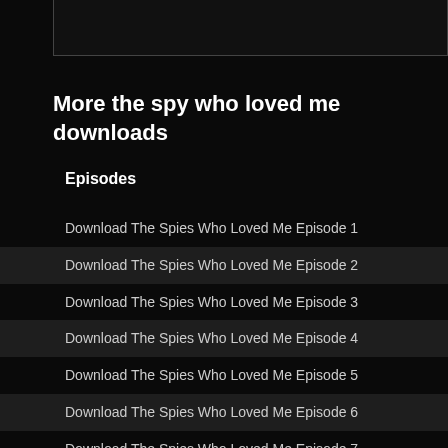[Figure (screenshot): Top navigation bar area, dark background with border]
More the spy who loved me downloads
Episodes
Download The Spies Who Loved Me Episode 1
Download The Spies Who Loved Me Episode 2
Download The Spies Who Loved Me Episode 3
Download The Spies Who Loved Me Episode 4
Download The Spies Who Loved Me Episode 5
Download The Spies Who Loved Me Episode 6
Download The Spies Who Loved Me Episode 7
Download The Spies Who Loved Me Episode 8
Download The Spies Who Loved Me Episode 9
Download The Spies Who Loved Me Episode 10
Download The Spies Who Loved Me Episode 11